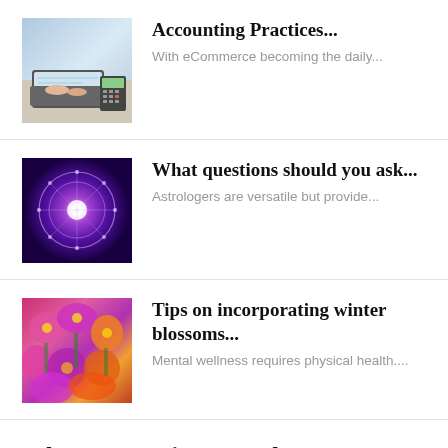[Figure (photo): Laptop and calculator on a desk, person typing]
Accounting Practices...
With eCommerce becoming the daily...
[Figure (photo): Glowing astrology wheel with zodiac signs against purple background]
What questions should you ask...
Astrologers are versatile but provide...
[Figure (photo): Colorful winter blossoms — pink, purple, orange flowers]
Tips on incorporating winter blossoms...
Mental wellness requires physical health....
Why Your Business Needs A...
A website is your business's...